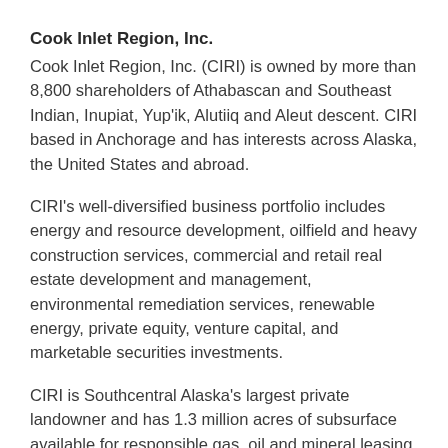Cook Inlet Region, Inc.
Cook Inlet Region, Inc. (CIRI) is owned by more than 8,800 shareholders of Athabascan and Southeast Indian, Inupiat, Yup'ik, Alutiiq and Aleut descent. CIRI based in Anchorage and has interests across Alaska, the United States and abroad.
CIRI's well-diversified business portfolio includes energy and resource development, oilfield and heavy construction services, commercial and retail real estate development and management, environmental remediation services, renewable energy, private equity, venture capital, and marketable securities investments.
CIRI is Southcentral Alaska's largest private landowner and has 1.3 million acres of subsurface available for responsible gas, oil and mineral leasing in the Cook Inlet region. It is developing alternative energy resources on its land, including a commercial-scale wind farm on Fire Island three miles offshore from Anchorage. The corporation generated nearly $514 million in revenue in 2018 and has paid out more than $1